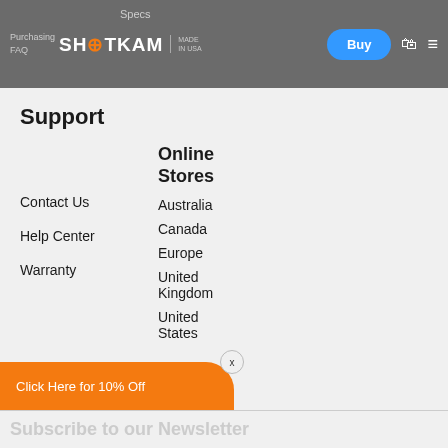ShotKam | MADE IN USA | Purchasing | FAQ | Specs | Buy
Support
Contact Us
Help Center
Warranty
Online Stores
Australia
Canada
Europe
United Kingdom
United States
Click Here for 10% Off
Subscribe to our Newsletter